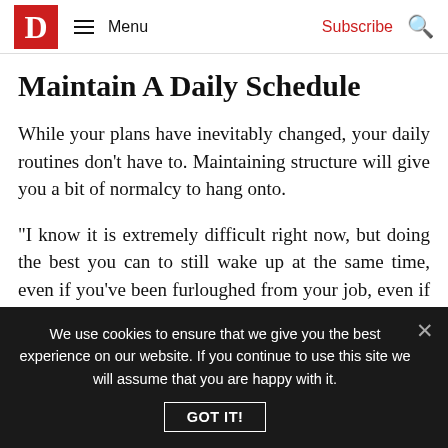D  Menu  Subscribe
Maintain A Daily Schedule
While your plans have inevitably changed, your daily routines don’t have to. Maintaining structure will give you a bit of normalcy to hang onto.
“I know it is extremely difficult right now, but doing the best you can to still wake up at the same time, even if you’ve been furloughed from your job, even if you have kids,” says Taylor. He says having set rise
We use cookies to ensure that we give you the best experience on our website. If you continue to use this site we will assume that you are happy with it. GOT IT!